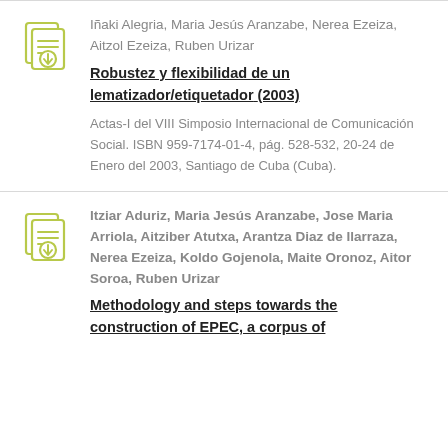Iñaki Alegria, Maria Jesús Aranzabe, Nerea Ezeiza, Aitzol Ezeiza, Ruben Urizar
Robustez y flexibilidad de un lematizador/etiquetador (2003)
Actas-I del VIII Simposio Internacional de Comunicación Social. ISBN 959-7174-01-4, pág. 528-532, 20-24 de Enero del 2003, Santiago de Cuba (Cuba).
Itziar Aduriz, Maria Jesús Aranzabe, Jose Maria Arriola, Aitziber Atutxa, Arantza Diaz de Ilarraza, Nerea Ezeiza, Koldo Gojenola, Maite Oronoz, Aitor Soroa, Ruben Urizar
Methodology and steps towards the construction of EPEC, a corpus of